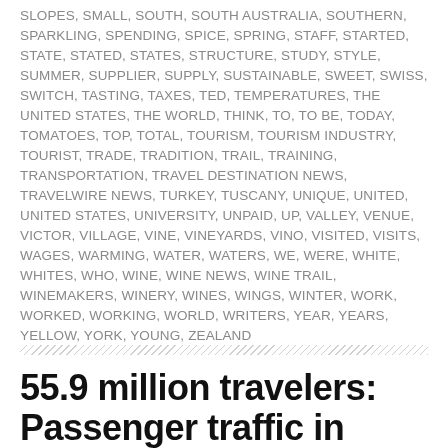SLOPES, SMALL, SOUTH, SOUTH AUSTRALIA, SOUTHERN, SPARKLING, SPENDING, SPICE, SPRING, STAFF, STARTED, STATE, STATED, STATES, STRUCTURE, STUDY, STYLE, SUMMER, SUPPLIER, SUPPLY, SUSTAINABLE, SWEET, SWISS, SWITCH, TASTING, TAXES, TED, TEMPERATURES, THE UNITED STATES, THE WORLD, THINK, TO, TO BE, TODAY, TOMATOES, TOP, TOTAL, TOURISM, TOURISM INDUSTRY, TOURIST, TRADE, TRADITION, TRAIL, TRAINING, TRANSPORTATION, TRAVEL DESTINATION NEWS, TRAVELWIRE NEWS, TURKEY, TUSCANY, UNIQUE, UNITED, UNITED STATES, UNIVERSITY, UNPAID, UP, VALLEY, VENUE, VICTOR, VILLAGE, VINE, VINEYARDS, VINO, VISITED, VISITS, WAGES, WARMING, WATER, WATERS, WE, WERE, WHITE, WHITES, WHO, WINE, WINE NEWS, WINE TRAIL, WINEMAKERS, WINERY, WINES, WINGS, WINTER, WORK, WORKED, WORKING, WORLD, WRITERS, YEAR, YEARS, YELLOW, YORK, YOUNG, ZEALAND
55.9 million travelers: Passenger traffic in